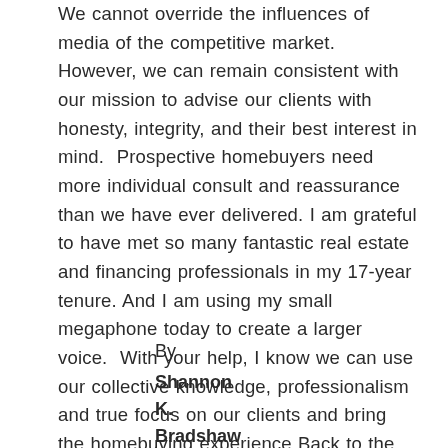We cannot override the influences of media of the competitive market. However, we can remain consistent with our mission to advise our clients with honesty, integrity, and their best interest in mind.  Prospective homebuyers need more individual consult and reassurance than we have ever delivered. I am grateful to have met so many fantastic real estate and financing professionals in my 17-year tenure. And I am using my small megaphone today to create a larger voice.  With your help, I know we can use our collective knowledge, professionalism and true focus on our clients and bring the homebuying experience Back to the Basics.
By Shannon K. Bradshaw